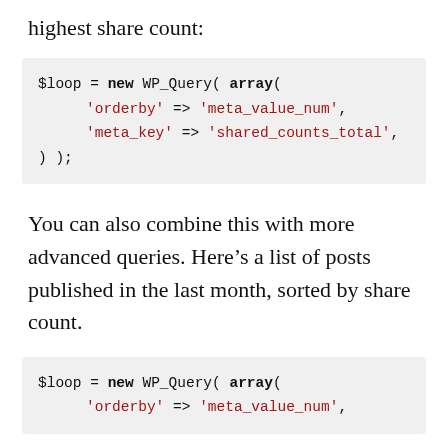highest share count:
$loop = new WP_Query( array(
        'orderby' => 'meta_value_num',
        'meta_key' => 'shared_counts_total',
) );
You can also combine this with more advanced queries. Here’s a list of posts published in the last month, sorted by share count.
$loop = new WP_Query( array(
        'orderby' => 'meta_value_num',